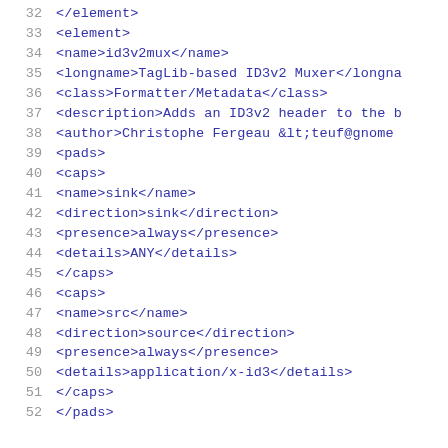32    </element>
33    <element>
34        <name>id3v2mux</name>
35        <longname>TagLib-based ID3v2 Muxer</longna
36        <class>Formatter/Metadata</class>
37        <description>Adds an ID3v2 header to the b
38        <author>Christophe Fergeau &lt;teuf@gnome
39        <pads>
40            <caps>
41                <name>sink</name>
42                <direction>sink</direction>
43                <presence>always</presence>
44                <details>ANY</details>
45            </caps>
46            <caps>
47                <name>src</name>
48                <direction>source</direction>
49                <presence>always</presence>
50                <details>application/x-id3</details>
51            </caps>
52        </pads>